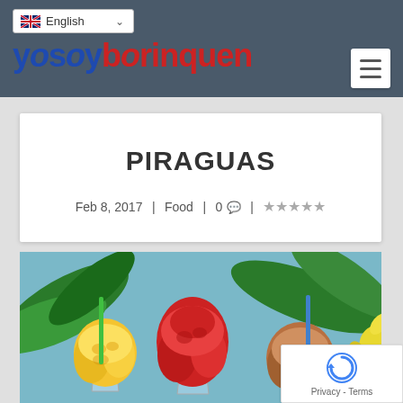yosoyborinquen — English language selector and hamburger menu
PIRAGUAS
Feb 8, 2017 | Food | 0 💬 | ★★★★★
[Figure (photo): Three colorful piraguas (shaved ice treats) in cups with straws — yellow, red/strawberry, and brown — on a tropical background with green leaves and yellow flowers.]